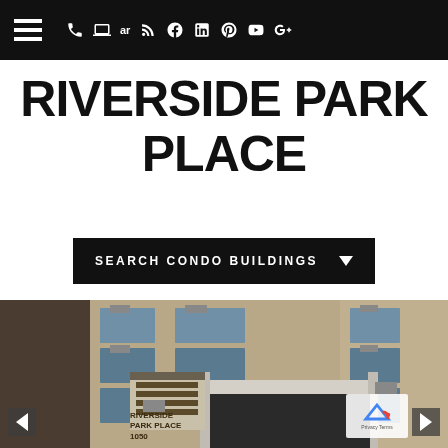Navigation bar with hamburger menu and social/contact icons
RIVERSIDE PARK PLACE
SEARCH CONDO BUILDINGS
[Figure (photo): Exterior photograph of Riverside Park Place condominium building, a multi-story brick building with window air conditioning units. Building sign reads RIVERSIDE PARK PLACE 1050. White canopy/entrance visible.]